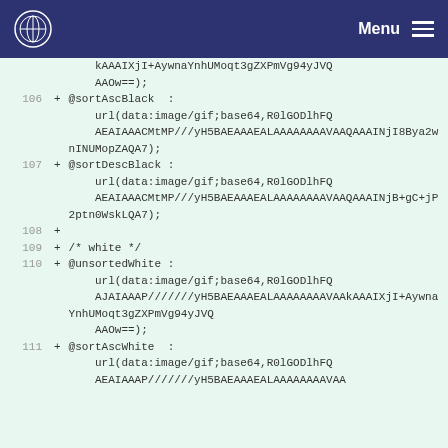Menu
kAAAIXjI+AywnaYnhUMoqt3gZXPmVg94yJVQAAOw==);
106  + @sortAscBlack  : url(data:image/gif;base64,R0lGODlhFQAEAIAAACMtMP///yH5BAEAAAEALAAAAAAAAVAAQAAAINjI8Bya2wnINUMopZAQA7);
107  + @sortDescBlack : url(data:image/gif;base64,R0lGODlhFQAEAIAAACMtMP///yH5BAEAAAEALAAAAAAAAVAAQAAAINjB+gC+jP2ptn0WskLQA7);
108  +
109  + /* white */
110  + @unsortedWhite : url(data:image/gif;base64,R0lGODlhFQAJAIAAAAP///////yH5BAEAAAEALAAAAAAAAVAAkAAAIXjI+AywnaYnhUMoqt3gZXPmVg94yJVQAAOw==);
111  + @sortAscWhite  : url(data:image/gif;base64,R0lGODlhFQAJAIAAAAP///////yH5BAEAAAEALAAAAAAAAVAA